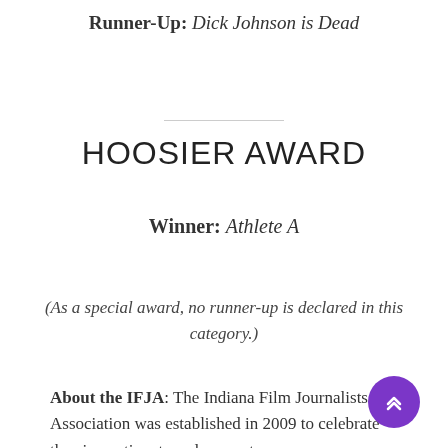Runner-Up: Dick Johnson is Dead
HOOSIER AWARD
Winner: Athlete A
(As a special award, no runner-up is declared in this category.)
About the IFJA: The Indiana Film Journalists Association was established in 2009 to celebrate the cinematic arts and support